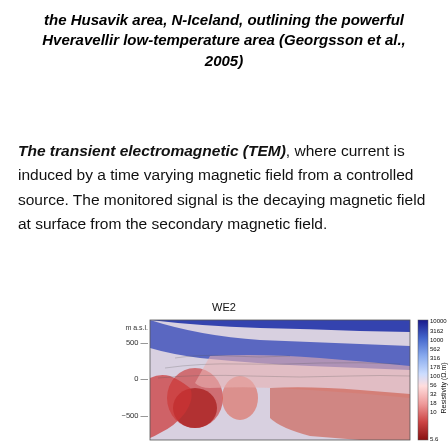the Husavik area, N-Iceland, outlining the powerful Hveravellir low-temperature area (Georgsson et al., 2005)
The transient electromagnetic (TEM), where current is induced by a time varying magnetic field from a controlled source. The monitored signal is the decaying magnetic field at surface from the secondary magnetic field.
[Figure (continuous-plot): WE2 resistivity cross-section plot showing depth (masl) vs horizontal distance with color scale from 5.6 to 10000 Resistivity (Ohm-m). Depth axis shows 500, 0, -500. Color scale on right shows 10000, 3162, 1000, 562, 316, 178, 100, 56, 32, 18, 10, 5.6.]